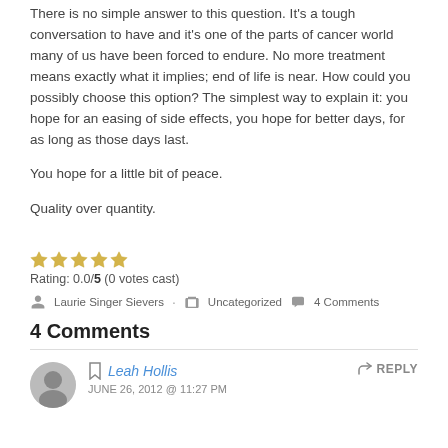There is no simple answer to this question. It's a tough conversation to have and it's one of the parts of cancer world many of us have been forced to endure. No more treatment means exactly what it implies; end of life is near. How could you possibly choose this option? The simplest way to explain it: you hope for an easing of side effects, you hope for better days, for as long as those days last.
You hope for a little bit of peace.
Quality over quantity.
Rating: 0.0/5 (0 votes cast)
Laurie Singer Sievers · Uncategorized · 4 Comments
4 Comments
Leah Hollis
JUNE 26, 2012 @ 11:27 PM